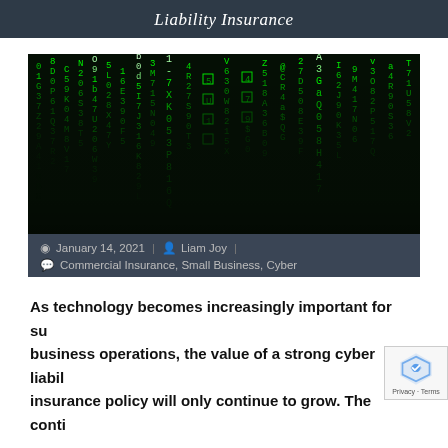Liability Insurance
[Figure (photo): Matrix-style green digital code falling on dark background (cybersecurity themed image)]
January 14, 2021 | Liam Joy |
Commercial Insurance, Small Business, Cyber
As technology becomes increasingly important for su... business operations, the value of a strong cyber liabil... insurance policy will only continue to grow. The continued...